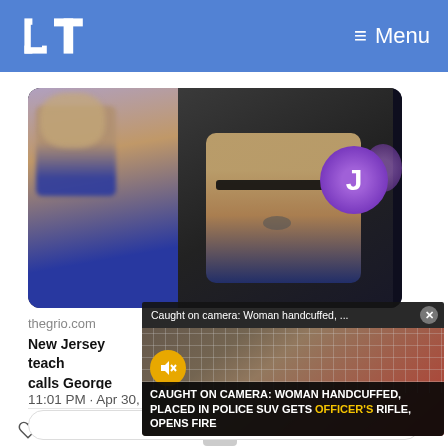LT  ≡ Menu
[Figure (screenshot): Screenshot of a tweet/social media post. Shows a video thumbnail with two people on a video call (blurry face on left, man with glasses in center), and a purple circle with letter J on the right. An overlay notification bar reads 'Caught on camera: Woman handcuffed, ... ×'. A video popup shows 'CAUGHT ON CAMERA: WOMAN HANDCUFFED, PLACED IN POLICE SUV GETS OFFICER'S RIFLE, OPENS FIRE' with a mute button. The tweet source is thegrio.com with headline 'New Jersey teach... calls George Floyo...' and timestamp '11:01 PM · Apr 30, 2...'. Action bar shows heart icon 21, Reply, Copy link. Below is 'Read 6 replies'.]